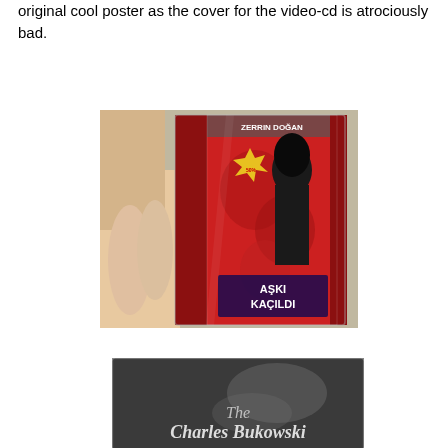original cool poster as the cover for the video-cd is atrociously bad.
[Figure (photo): A hand holding a red video-CD case with Turkish text and a woman on the cover, titled 'AŞKI KAÇILDI' by Zerrin Doğan.]
[Figure (photo): A dark grey DVD/VCD case with script text reading 'The Charles Bukowski' partially visible.]